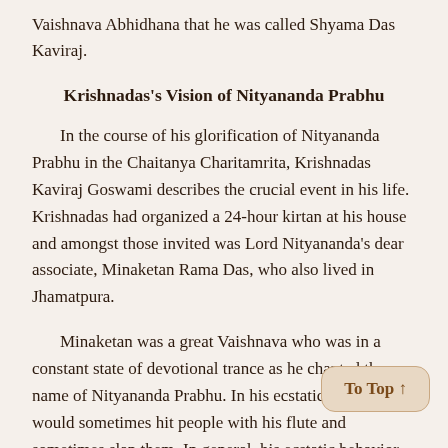Vaishnava Abhidhana that he was called Shyama Das Kaviraj.
Krishnadas's Vision of Nityananda Prabhu
In the course of his glorification of Nityananda Prabhu in the Chaitanya Charitamrita, Krishnadas Kaviraj Goswami describes the crucial event in his life. Krishnadas had organized a 24-hour kirtan at his house and amongst those invited was Lord Nityananda's dear associate, Minaketan Rama Das, who also lived in Jhamatpura.
Minaketan was a great Vaishnava who was in a constant state of devotional trance as he chanted the name of Nityananda Prabhu. In his ecstatic mood, he would sometimes hit people with his flute and sometimes slap them. In general, his ecstatic behavior was the cause of some astonishment amongst Krishnadas's guests who came to pay their obeisances and offer him their... Only Gunarnava Mishra, who had been engaged at the